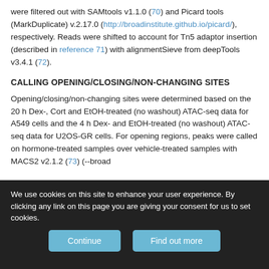were filtered out with SAMtools v1.1.0 (70) and Picard tools (MarkDuplicate) v.2.17.0 (http://broadinstitute.github.io/picard/), respectively. Reads were shifted to account for Tn5 adaptor insertion (described in reference 71) with alignmentSieve from deepTools v3.4.1 (72).
CALLING OPENING/CLOSING/NON-CHANGING SITES
Opening/closing/non-changing sites were determined based on the 20 h Dex-, Cort and EtOH-treated (no washout) ATAC-seq data for A549 cells and the 4 h Dex- and EtOH-treated (no washout) ATAC-seq data for U2OS-GR cells. For opening regions, peaks were called on hormone-treated samples over vehicle-treated samples with MACS2 v2.1.2 (73) (--broad
We use cookies on this site to enhance your user experience. By clicking any link on this page you are giving your consent for us to set cookies.